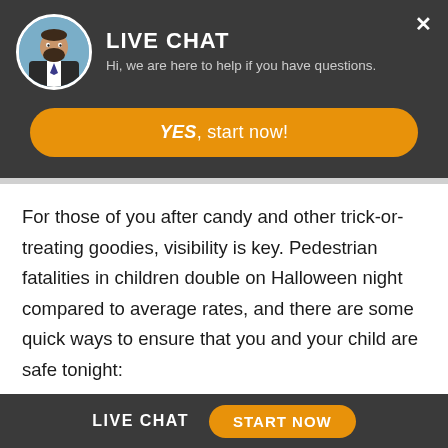LIVE CHAT
Hi, we are here to help if you have questions.
YES, start now!
For those of you after candy and other trick-or-treating goodies, visibility is key. Pedestrian fatalities in children double on Halloween night compared to average rates, and there are some quick ways to ensure that you and your child are safe tonight:
Reflective tape or decals: Fasten
LIVE CHAT  START NOW